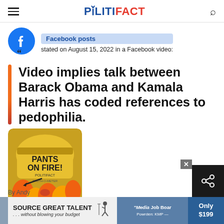POLITIFACT
Facebook posts stated on August 15, 2022 in a Facebook video:
Video implies talk between Barack Obama and Kamala Harris has coded references to pedophilia.
[Figure (illustration): Pants on Fire rating badge — PolitiFact Truth-O-Meter with flames]
By Andy...
[Figure (infographic): Advertisement: Source Great Talent ... without blowing your budget. Media Job Board. Only $199.]